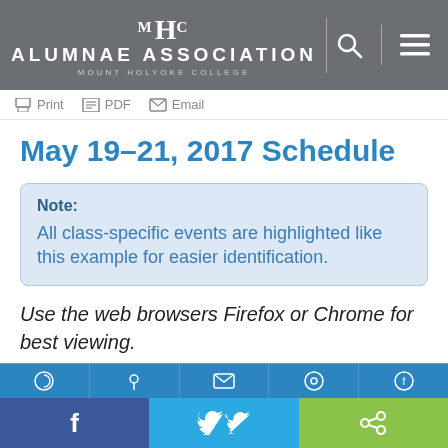MHC ALUMNAE ASSOCIATION MOUNT HOLYOKE COLLEGE
Print PDF Email
May 19–21, 2017 Schedule
Note: All class-specific events are highlighted like this example for easier identification.
Use the web browsers Firefox or Chrome for best viewing.
Social sharing bar: Facebook, Twitter, Share